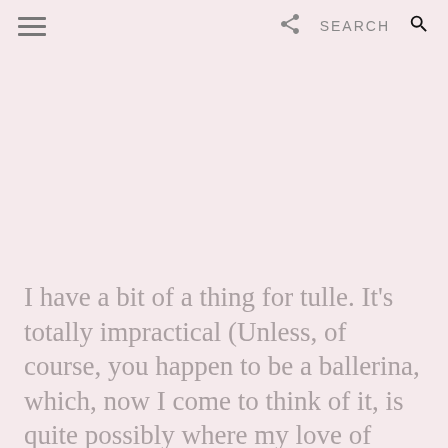≡  [share icon]  SEARCH  [search icon]
I have a bit of a thing for tulle. It's totally impractical (Unless, of course, you happen to be a ballerina, which, now I come to think of it, is quite possibly where my love of tulle comes from: I was one of those little girls who dreamt of being a